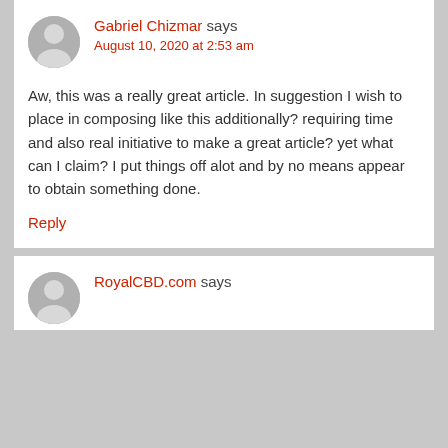Gabriel Chizmar says
August 10, 2020 at 2:53 am
Aw, this was a really great article. In suggestion I wish to place in composing like this additionally? requiring time and also real initiative to make a great article? yet what can I claim? I put things off alot and by no means appear to obtain something done.
Reply
RoyalCBD.com says